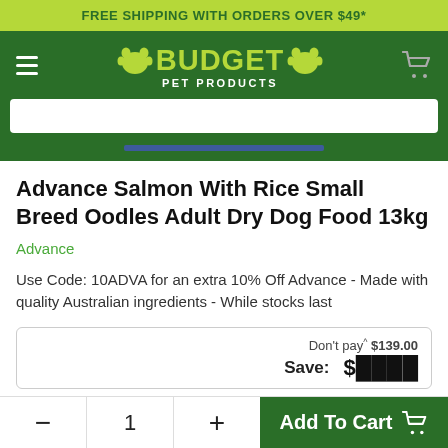FREE SHIPPING WITH ORDERS OVER $49*
[Figure (logo): Budget Pet Products logo with paw print icons on green background, hamburger menu and cart icons]
Advance Salmon With Rice Small Breed Oodles Adult Dry Dog Food 13kg
Advance
Use Code: 10ADVA for an extra 10% Off Advance - Made with quality Australian ingredients - While stocks last
Don't pay^ $139.00
Save:
- 1 + Add To Cart